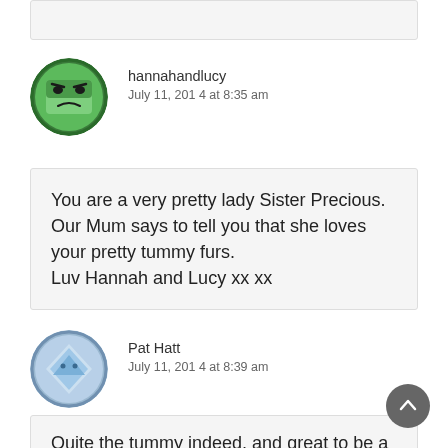[Figure (other): Partial comment box at top of page (cut off)]
[Figure (illustration): Avatar for hannahandlucy — green angry face emoji style avatar with circular border]
hannahandlucy
July 11, 2014 at 8:35 am
You are a very pretty lady Sister Precious. Our Mum says to tell you that she loves your pretty tummy furs.
Luv Hannah and Lucy xx xx
[Figure (illustration): Avatar for Pat Hatt — blue/white triangular diamond shape avatar with circular border]
Pat Hatt
July 11, 2014 at 8:39 am
Quite the tummy indeed, and great to be a noise...